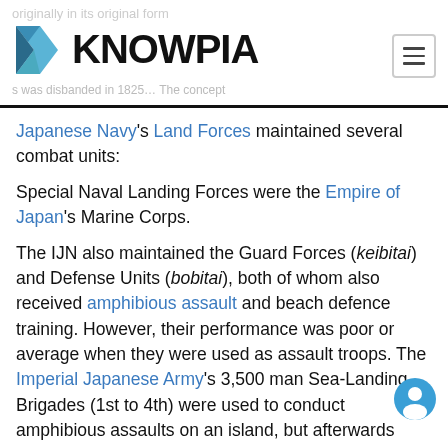KNOWPIA
Japanese Navy's Land Forces maintained several combat units:
Special Naval Landing Forces were the Empire of Japan's Marine Corps.
The IJN also maintained the Guard Forces (keibitai) and Defense Units (bobitai), both of whom also received amphibious assault and beach defence training. However, their performance was poor or average when they were used as assault troops. The Imperial Japanese Army's 3,500 man Sea-Landing Brigades (1st to 4th) were used to conduct amphibious assaults on an island, but afterwards stayed to garrison that island.
The Khmer Republic